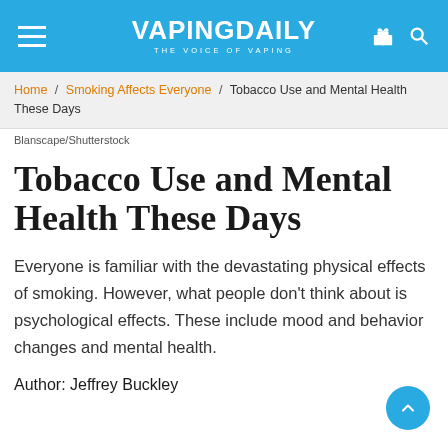VAPINGDAILY THE VOICE OF VAPING
Home / Smoking Affects Everyone / Tobacco Use and Mental Health These Days
Blanscape/Shutterstock
Tobacco Use and Mental Health These Days
Everyone is familiar with the devastating physical effects of smoking. However, what people don't think about is psychological effects. These include mood and behavior changes and mental health.
Author: Jeffrey Buckley